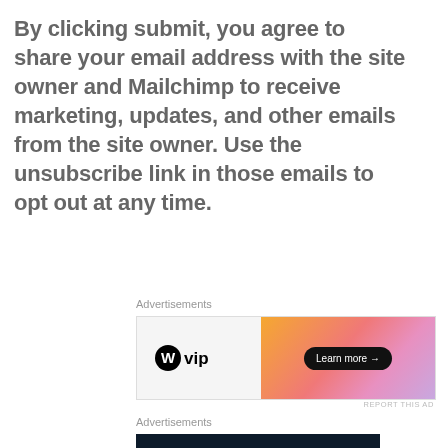By clicking submit, you agree to share your email address with the site owner and Mailchimp to receive marketing, updates, and other emails from the site owner. Use the unsubscribe link in those emails to opt out at any time.
Advertisements
[Figure (screenshot): WordPress VIP advertisement banner with orange-pink gradient on the right and 'Learn more →' button]
Advertisements
[Figure (screenshot): Dark navy WordPress advertisement banner with white WordPress logo]
Privacy & Cookies: This site uses cookies. By continuing to use this website, you agree to their use.
To find out more, including how to control cookies, see here: Cookie Policy
Close and accept